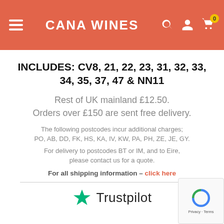CANA WINES
INCLUDES: CV8, 21, 22, 23, 31, 32, 33, 34, 35, 37, 47 & NN11
Rest of UK mainland £12.50. Orders over £150 are sent free delivery.
The following postcodes incur additional charges; PO, AB, DD, FK, HS, KA, IV, KW, PA, PH, ZE, JE, GY.
For delivery to postcodes BT or IM, and to Eire, please contact us for a quote.
For all shipping information – click here
[Figure (logo): Trustpilot logo with green star and text 'Trustpilot']